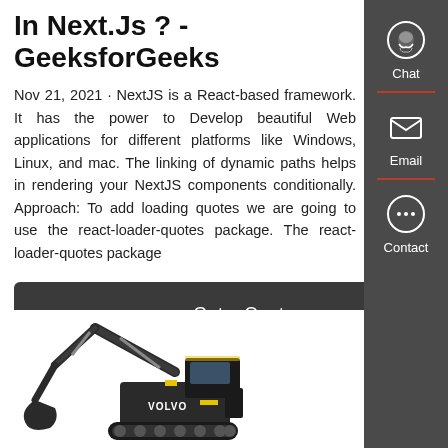In Next.Js ? - GeeksforGeeks
Nov 21, 2021 · NextJS is a React-based framework. It has the power to Develop beautiful Web applications for different platforms like Windows, Linux, and mac. The linking of dynamic paths helps in rendering your NextJS components conditionally. Approach: To add loading quotes we are going to use the react-loader-quotes package. The react-loader-quotes package
[Figure (other): Dark gray button labeled 'Get a Quote']
[Figure (photo): Volvo excavator/construction machine photographed against white background]